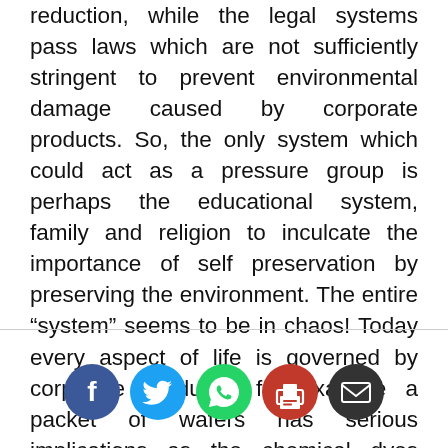reduction, while the legal systems pass laws which are not sufficiently stringent to prevent environmental damage caused by corporate products. So, the only system which could act as a pressure group is perhaps the educational system, family and religion to inculcate the importance of self preservation by preserving the environment. The entire “system” seems to be in chaos! Today every aspect of life is governed by corporate products, for example a packet of wafers has serious implications as the chemical dyes used in the packet are highly detrimental for the environment, and similarly the bone china enameled crockery is supposed to be carcinogenic owing to the presence of lead pigment in the glaze.
[Figure (infographic): Social sharing icons: Facebook (blue circle with f), Twitter (sky blue circle with bird), WhatsApp (green circle with phone), Print (dark red circle with printer), Email (dark grey circle with envelope)]